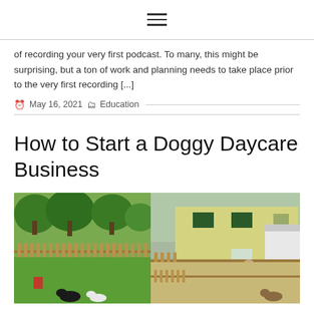≡
of recording your very first podcast. To many, this might be surprising, but a ton of work and planning needs to take place prior to the very first recording [...]
May 16, 2021  Education
How to Start a Doggy Daycare Business
[Figure (photo): Outdoor doggy daycare facility with white picket fence, green grass with dogs playing, and a yellow building in the background]